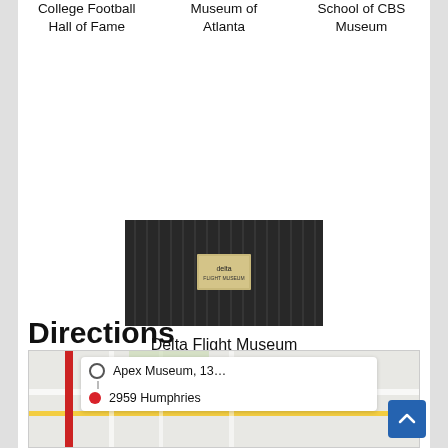College Football Hall of Fame
Museum of Atlanta
School of CBS Museum
[Figure (photo): Photo of Delta Flight Museum exhibit — dark striped surface with a Delta logo plaque]
Delta Flight Museum
Directions
[Figure (map): Map showing directions, with HOME PARK and MIDTOWN labels, a red vertical bar on the left, and a directions card showing 'Apex Museum, 13...' and '2959 Humphries']